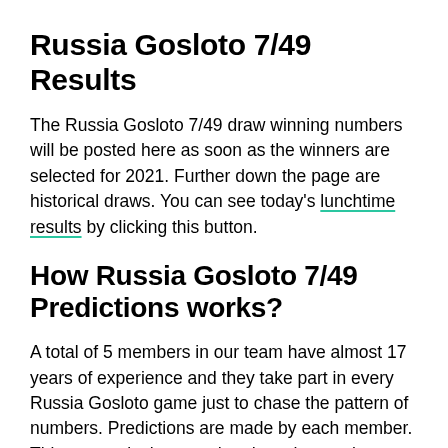Russia Gosloto 7/49 Results
The Russia Gosloto 7/49 draw winning numbers will be posted here as soon as the winners are selected for 2021. Further down the page are historical draws. You can see today's lunchtime results by clicking this button.
How Russia Gosloto 7/49 Predictions works?
A total of 5 members in our team have almost 17 years of experience and they take part in every Russia Gosloto game just to chase the pattern of numbers. Predictions are made by each member. This pattern is then used to draw the numbers. Use these numbers on their own if they are not confirmed.